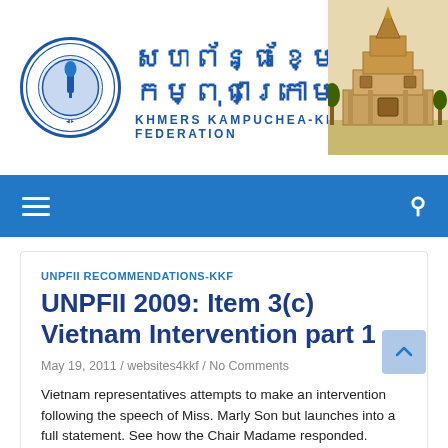[Figure (logo): Khmers Kampuchea-Krom Federation circular emblem logo in blue]
សហព័ន្ធខ្មែរកម្ពុជាក្រោម
KHMERS KAMPUCHEA-KROM FEDERATION
[Figure (photo): Khmer temple building photo top right corner]
Navigation bar with hamburger menu and search icon
UNPFII RECOMMENDATIONS-KKF
UNPFII 2009: Item 3(c) Vietnam Intervention part 1
May 19, 2011 / websites4kkf / No Comments
Vietnam representatives attempts to make an intervention following the speech of Miss. Marly Son but launches into a full statement. See how the Chair Madame responded.
Vietnam government representative: Madame Chair, I would like to say thank you for convening this important